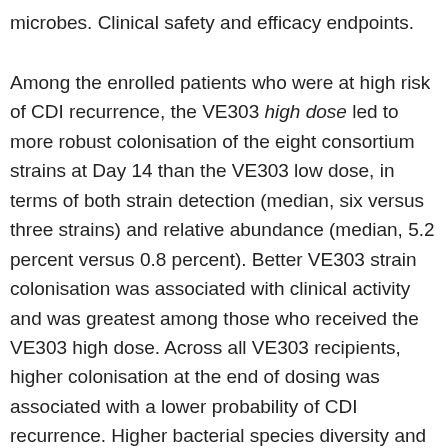microbes. Clinical safety and efficacy endpoints.
Among the enrolled patients who were at high risk of CDI recurrence, the VE303 high dose led to more robust colonisation of the eight consortium strains at Day 14 than the VE303 low dose, in terms of both strain detection (median, six versus three strains) and relative abundance (median, 5.2 percent versus 0.8 percent). Better VE303 strain colonisation was associated with clinical activity and was greatest among those who received the VE303 high dose. Across all VE303 recipients, higher colonisation at the end of dosing was associated with a lower probability of CDI recurrence. Higher bacterial species diversity and more rapid recovery of the normal resident microbial community were observed with use of VE303 high dose and were also associated with non-recurrence.